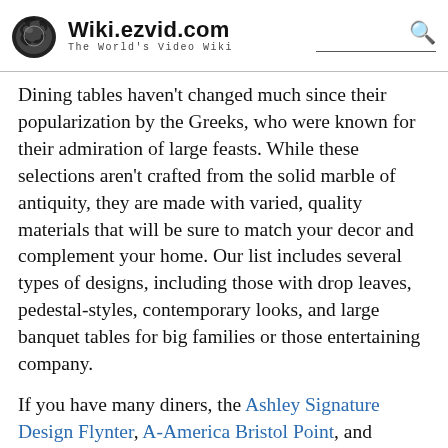Wiki.ezvid.com — The World's Video Wiki
Dining tables haven't changed much since their popularization by the Greeks, who were known for their admiration of large feasts. While these selections aren't crafted from the solid marble of antiquity, they are made with varied, quality materials that will be sure to match your decor and complement your home. Our list includes several types of designs, including those with drop leaves, pedestal-styles, contemporary looks, and large banquet tables for big families or those entertaining company.
If you have many diners, the Ashley Signature Design Flynter, A-America Bristol Point, and Ashley Signature Design Moriville are all great options. The latter two both come with drop-in